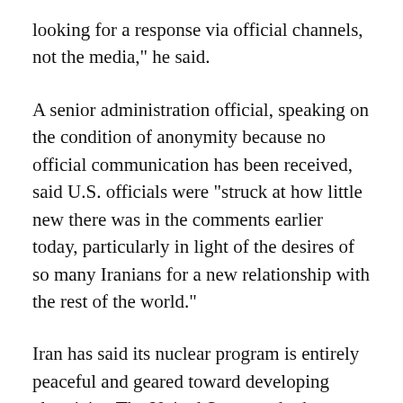looking for a response via official channels, not the media," he said.
A senior administration official, speaking on the condition of anonymity because no official communication has been received, said U.S. officials were "struck at how little new there was in the comments earlier today, particularly in light of the desires of so many Iranians for a new relationship with the rest of the world."
Iran has said its nuclear program is entirely peaceful and geared toward developing electricity. The United States and other Western nations say they believe Iran intends to weaponize the technology.